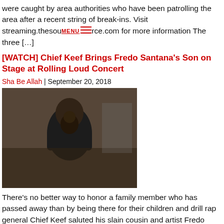were caught by area authorities who have been patrolling the area after a recent string of break-ins. Visit streaming.thesource.com for more information The three […]
[WATCH] Chief Keef Brings Fredo Santana's Son on Stage at Rolling Loud Concert
Sha Be Allah | September 20, 2018
[Figure (photo): Photo of a person holding a young child, both wearing dark clothing]
There's no better way to honor a family member who has passed away than by being there for their children and drill rap general Chief Keef saluted his slain cousin and artist Fredo Santana in a supreme way. Visit streaming.thesource.com for more information At the sold-out Rolling Loud Bay Area show, Keef brought out Fredo's […]
Chief Keef Will Launch a Hologram Tour From London
Shawn Grant | July 18, 2018
[Figure (photo): Partial photo visible at bottom of page]